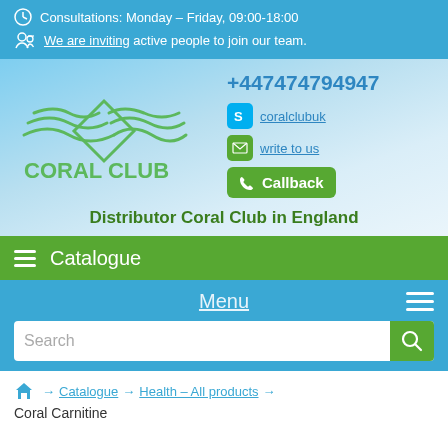Consultations: Monday – Friday, 09:00-18:00
We are inviting active people to join our team.
[Figure (logo): Coral Club logo with green diamond and wave lines above text CORAL CLUB]
+447474794947
coralclubuk
write to us
Callback
Distributor Coral Club in England
Catalogue
Menu
Search
→ Catalogue → Health – All products → Coral Carnitine